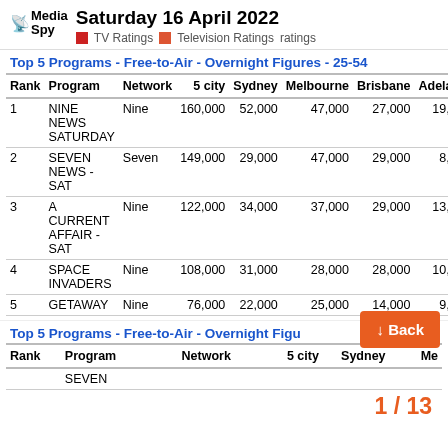Saturday 16 April 2022
TV Ratings  Television Ratings  ratings
Top 5 Programs - Free-to-Air - Overnight Figures - 25-54
| Rank | Program | Network | 5 city | Sydney | Melbourne | Brisbane | Adelaide |
| --- | --- | --- | --- | --- | --- | --- | --- |
| 1 | NINE NEWS SATURDAY | Nine | 160,000 | 52,000 | 47,000 | 27,000 | 19,000 |
| 2 | SEVEN NEWS - SAT | Seven | 149,000 | 29,000 | 47,000 | 29,000 | 8,000 |
| 3 | A CURRENT AFFAIR - SAT | Nine | 122,000 | 34,000 | 37,000 | 29,000 | 13,000 |
| 4 | SPACE INVADERS | Nine | 108,000 | 31,000 | 28,000 | 28,000 | 10,000 |
| 5 | GETAWAY | Nine | 76,000 | 22,000 | 25,000 | 14,000 | 9,000 |
Top 5 Programs - Free-to-Air - Overnight Figures
| Rank | Program | Network | 5 city | Sydney | Me |
| --- | --- | --- | --- | --- | --- |
|  | SEVEN |  |  |  |  |